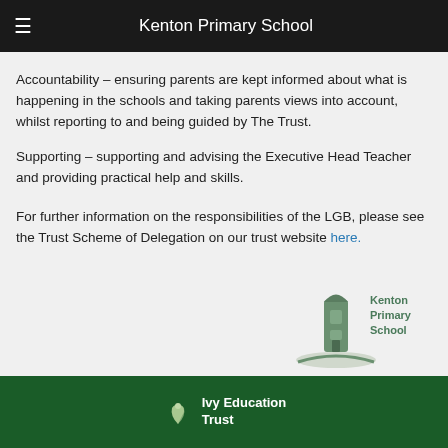Kenton Primary School
Accountability – ensuring parents are kept informed about what is happening in the schools and taking parents views into account, whilst reporting to and being guided by The Trust.
Supporting – supporting and advising the Executive Head Teacher and providing practical help and skills.
For further information on the responsibilities of the LGB, please see the Trust Scheme of Delegation on our trust website here.
[Figure (logo): Kenton Primary School logo with green building icon and text]
Ivy Education Trust